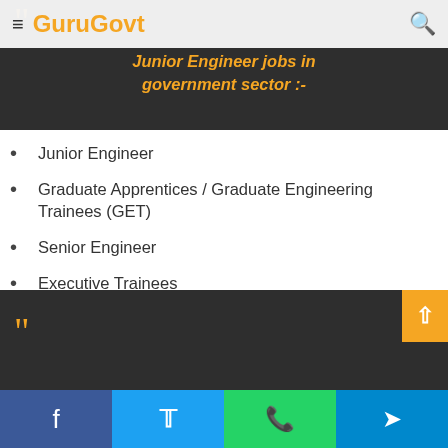GuruGovt
[Figure (screenshot): Dark banner with quote marks and italic orange bold text reading 'Junior Engineer jobs in government sector :-']
Junior Engineer
Graduate Apprentices / Graduate Engineering Trainees (GET)
Senior Engineer
Executive Trainees
Managers
[Figure (screenshot): Dark banner bottom section with large orange quotation marks]
Facebook | Twitter | WhatsApp | Telegram